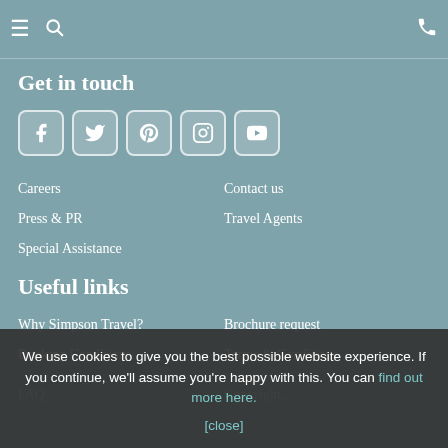≡ 🔍 📞
Get in touch
[Figure (other): Row of five social media icon buttons: Facebook, Twitter, Pinterest, Instagram, YouTube]
Careers
Contact us
Press & PR
Travel Agents
Special Assistance
Useful links
Why Simpson Travel?
Brochure request
Booking Conditions
Terms & Conditions
FAQ
We use cookies to give you the best possible website experience. If you continue, we'll assume you're happy with this. You can find out more here.
[close]